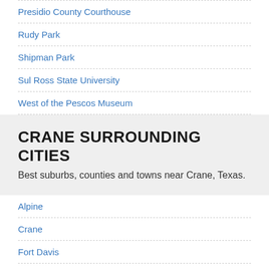Presidio County Courthouse
Rudy Park
Shipman Park
Sul Ross State University
West of the Pescos Museum
CRANE SURROUNDING CITIES
Best suburbs, counties and towns near Crane, Texas.
Alpine
Crane
Fort Davis
Fort Stockton